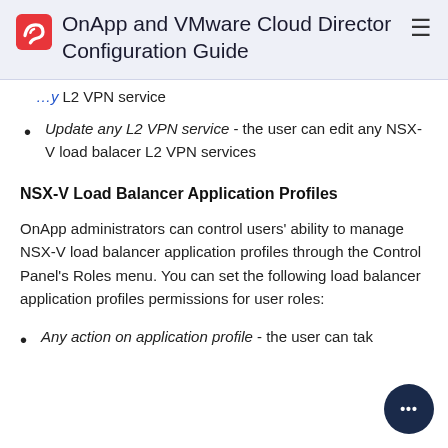OnApp and VMware Cloud Director Configuration Guide
L2 VPN service
Update any L2 VPN service - the user can edit any NSX-V load balacer L2 VPN services
NSX-V Load Balancer Application Profiles
OnApp administrators can control users' ability to manage NSX-V load balancer application profiles through the Control Panel's Roles menu. You can set the following load balancer application profiles permissions for user roles:
Any action on application profile - the user can tak…